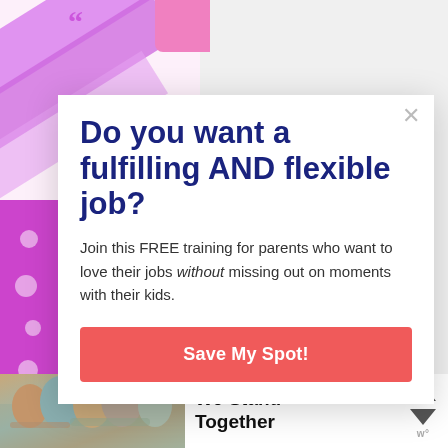[Figure (screenshot): Background page with decorative purple diagonal stripes and quote marks on a light pink background. Partially visible text fragments on left side.]
Do you want a fulfilling AND flexible job?
Join this FREE training for parents who want to love their jobs without missing out on moments with their kids.
Save My Spot!
[Figure (photo): Bottom advertisement banner showing a group of people hugging with text 'We Stand Together' and navigation arrows.]